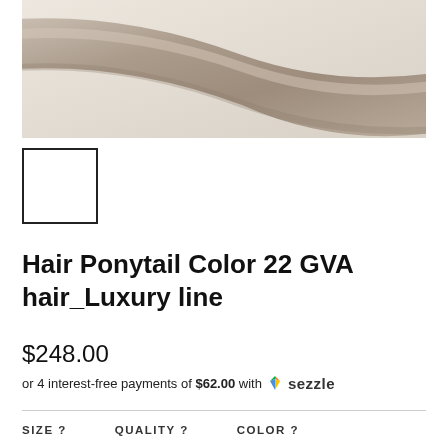[Figure (photo): Close-up photo of a hair extension/ponytail in a warm ash blonde or light taupe/gray color, draped diagonally against a light background]
[Figure (photo): Small thumbnail image of the hair ponytail product, shown as a white/empty square with black border]
Hair Ponytail Color 22 GVA hair_Luxury line
$248.00
or 4 interest-free payments of $62.00 with Sezzle
SIZE ?   QUALITY ?   COLOR ?